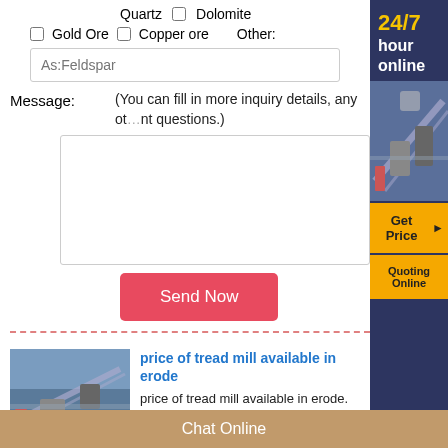Quartz  □ Dolomite
□ Gold Ore  □ Copper ore  Other:
As:Feldspar
Message:
(You can fill in more inquiry details, any other questions.)
Send Now
[Figure (infographic): 24/7 hour online banner with industrial machinery photo, Get Price button, Quoting Online button on dark blue sidebar]
[Figure (photo): Industrial conveyor belt / mining equipment photo]
price of tread mill available in erode
price of tread mill available in erode. As a leading global manufacturer of
Chat Online